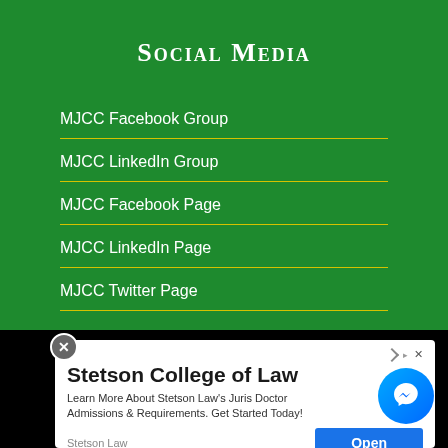Social Media
MJCC Facebook Group
MJCC LinkedIn Group
MJCC Facebook Page
MJCC LinkedIn Page
MJCC Twitter Page
[Figure (screenshot): Advertisement for Stetson College of Law with close button, ad badge, title 'Stetson College of Law', body text 'Learn More About Stetson Law's Juris Doctor Admissions & Requirements. Get Started Today!', brand label 'Stetson Law', and blue 'Open' button. A Facebook Messenger floating button appears at right.]